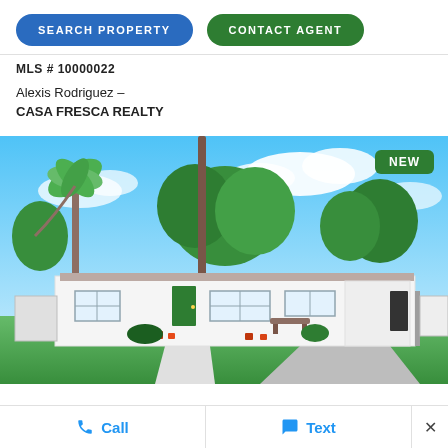SEARCH PROPERTY
CONTACT AGENT
MLS # 10000022
Alexis Rodriguez –
CASA FRESCA REALTY
[Figure (photo): Exterior photo of a single-story white ranch-style house with a green front door, palm trees, large shade tree, green lawn, and blue sky with clouds. A 'NEW' badge appears in the top right corner.]
📞 Call
💬 Text